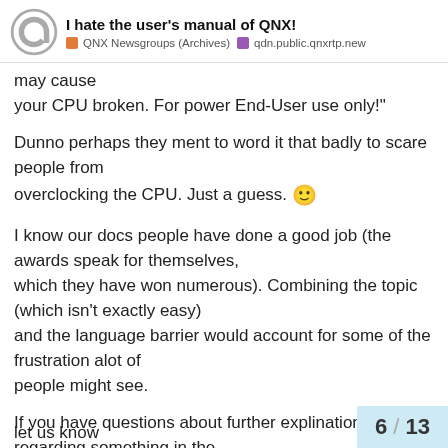I hate the user's manual of QNX! | QNX Newsgroups (Archives) | qdn.public.qnxrtp.new
may cause
your CPU broken. For power End-User use only!"
Dunno perhaps they ment to word it that badly to scare people from
overclocking the CPU. Just a guess. 🙂
I know our docs people have done a good job (the awards speak for themselves,
which they have won numerous). Combining the topic (which isn't exactly easy)
and the language barrier would account for some of the frustration alot of
people might see.
If you have questions about further explination regarding something in the
docs feel free to ask here, if something do
let us know